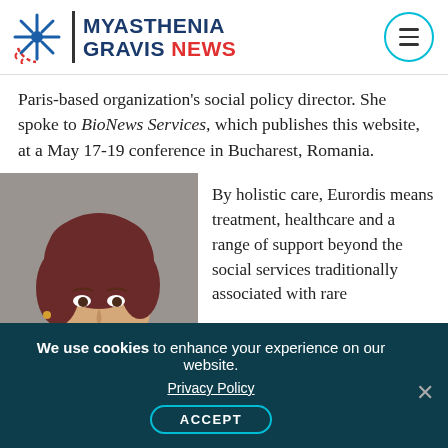MYASTHENIA GRAVIS NEWS
Paris-based organization's social policy director. She spoke to BioNews Services, which publishes this website, at a May 17-19 conference in Bucharest, Romania.
[Figure (photo): Portrait photo of a woman with reddish-brown hair, smiling, against a gray background]
By holistic care, Eurordis means treatment, healthcare and a range of support beyond the social services traditionally associated with rare
We use cookies to enhance your experience on our website. Privacy Policy ACCEPT